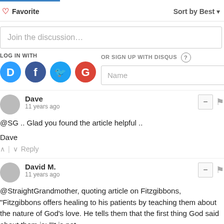♡ Favorite  Sort by Best
Join the discussion…
LOG IN WITH
[Figure (illustration): Social login icons: Disqus (blue D), Facebook (dark blue f), Twitter (light blue bird), Google (red G)]
OR SIGN UP WITH DISQUS ?
Name
Dave
11 years ago
@SG .. Glad you found the article helpful ..
Dave
∧ | ∨ Reply
David M.
11 years ago
@StraightGrandmother, quoting article on Fitzgibbons, "Fitzgibbons offers healing to his patients by teaching them about the nature of God's love. He tells them that the first thing God said about them is: "It is not